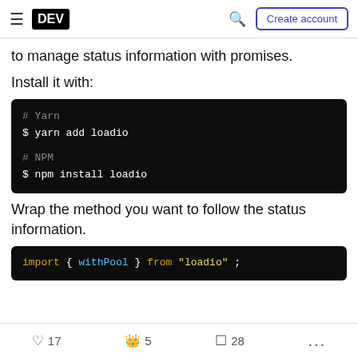DEV — Create account
to manage status information with promises.
Install it with:
[Figure (screenshot): Dark code block showing terminal commands: # Yarn, $ yarn add loadio, # NPM, $ npm install loadio]
Wrap the method you want to follow the status information.
[Figure (screenshot): Dark code block showing: import { withPool } from "loadio";]
17  5  28  ...